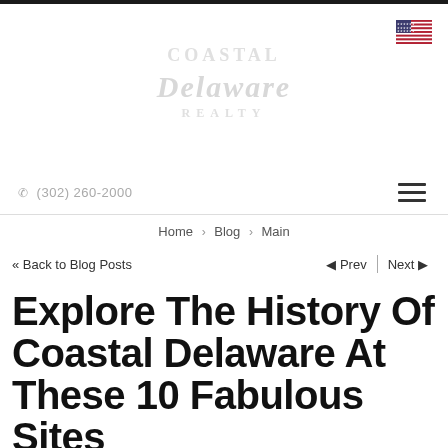(302) 260-2000
Home > Blog > Main
<< Back to Blog Posts    Prev | Next
Explore The History Of Coastal Delaware At These 10 Fabulous Sites